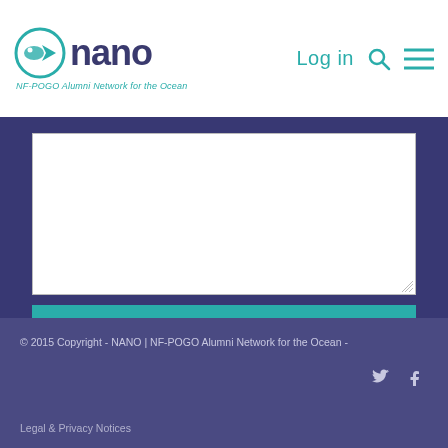[Figure (logo): NANO - NF-POGO Alumni Network for the Ocean logo with teal icon and dark blue text]
Log in
[Figure (other): White textarea input box for user message input]
Send
© 2015 Copyright - NANO | NF-POGO Alumni Network for the Ocean -
Legal & Privacy Notices